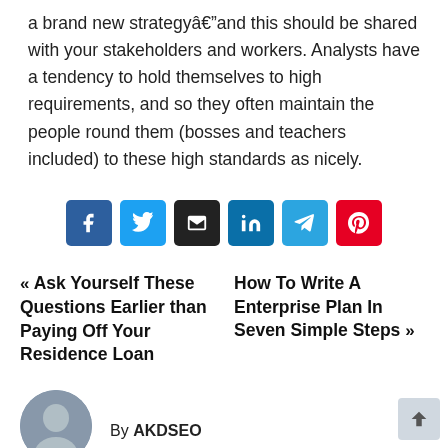a brand new strategyâ€”and this should be shared with your stakeholders and workers. Analysts have a tendency to hold themselves to high requirements, and so they often maintain the people round them (bosses and teachers included) to these high standards as nicely.
[Figure (infographic): Row of six social share buttons: Facebook (blue), Twitter (light blue), Email (black), LinkedIn (dark blue), Telegram (cyan), Pinterest (red)]
« Ask Yourself These Questions Earlier than Paying Off Your Residence Loan
How To Write A Enterprise Plan In Seven Simple Steps »
By AKDSEO